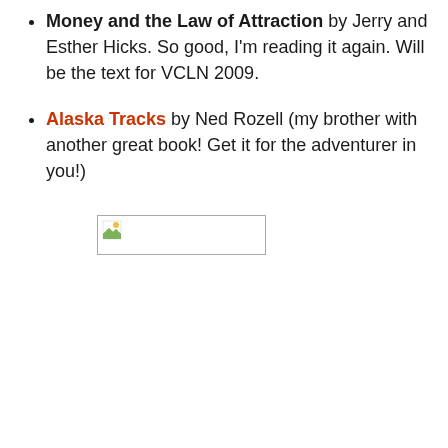Money and the Law of Attraction by Jerry and Esther Hicks. So good, I'm reading it again. Will be the text for VCLN 2009.
Alaska Tracks by Ned Rozell (my brother with another great book! Get it for the adventurer in you!)
[Figure (photo): Broken image placeholder icon with a small landscape thumbnail icon in the top-left corner of a bordered rectangle]